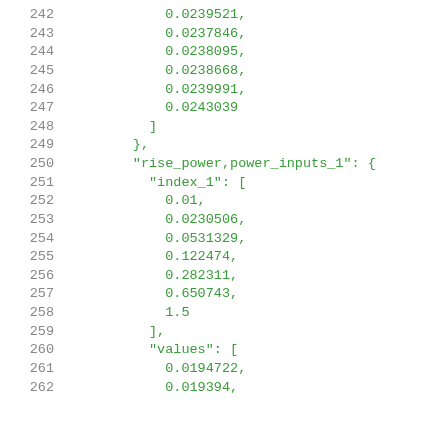242    0.0239521,
243    0.0237846,
244    0.0238095,
245    0.0238668,
246    0.0239991,
247    0.0243039
248  ],
249 },
250 "rise_power,power_inputs_1": {
251   "index_1": [
252     0.01,
253     0.0230506,
254     0.0531329,
255     0.122474,
256     0.282311,
257     0.650743,
258     1.5
259   ],
260   "values": [
261     0.0194722,
262     0.019394,